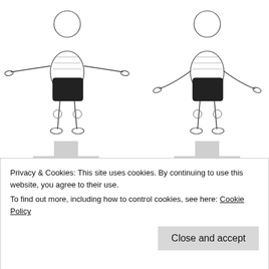[Figure (illustration): Two illustration panels (c and d) showing a person standing with arms spread wide, viewed from front. Panel c on left, panel d on right. Both figures stand on a cross/plus-shaped shadow. Labels c and d shown in small circular badges.]
I show this as a single action. Other things I might say include 'heart shaped' *(upside down). And making a sound effect 'Bu-doth' as I push my arms out.
[Figure (illustration): Two partially visible illustration panels (e and f) at the bottom showing a person seen from above/side with head down, partially obscured by cookie banner.]
Privacy & Cookies: This site uses cookies. By continuing to use this website, you agree to their use.
To find out more, including how to control cookies, see here: Cookie Policy
Close and accept